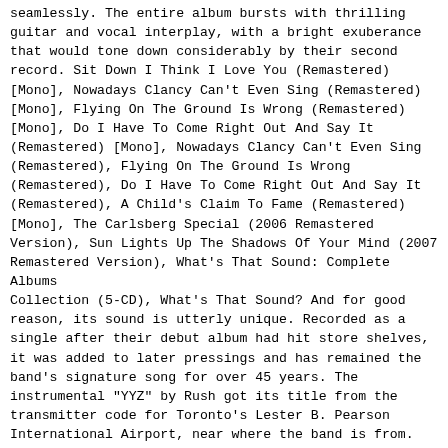seamlessly. The entire album bursts with thrilling guitar and vocal interplay, with a bright exuberance that would tone down considerably by their second record. Sit Down I Think I Love You (Remastered) [Mono], Nowadays Clancy Can't Even Sing (Remastered) [Mono], Flying On The Ground Is Wrong (Remastered) [Mono], Do I Have To Come Right Out And Say It (Remastered) [Mono], Nowadays Clancy Can't Even Sing (Remastered), Flying On The Ground Is Wrong (Remastered), Do I Have To Come Right Out And Say It (Remastered), A Child's Claim To Fame (Remastered) [Mono], The Carlsberg Special (2006 Remastered Version), Sun Lights Up The Shadows Of Your Mind (2007 Remastered Version), What's That Sound: Complete Albums Collection (5-CD), What's That Sound? And for good reason, its sound is utterly unique. Recorded as a single after their debut album had hit store shelves, it was added to later pressings and has remained the band's signature song for over 45 years. The instrumental "YYZ" by Rush got its title from the transmitter code for Toronto's Lester B. Pearson International Airport, near where the band is from. Kind Woman Why was this amazing tune left on the shelves during the Springfield days? When it comes to Buffalo Springfield, if there is one song that is familiar to everyone, it's this one! An absolute classic! The second track on the band's debut album, 'Sit Down'' is pristine folk-rock with a great garage band feel. What's That Sound? There are actually three different 'Bluebirds' to pick from. The Vietnam War - A Film By Ken Burns & Lynn Novick (The... Rhino Hi Five: